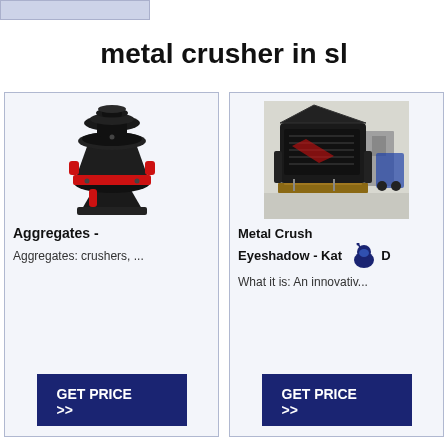metal crusher in sl
[Figure (photo): Cone crusher machine, black and red industrial equipment]
Aggregates -
Aggregates: crushers, ...
GET PRICE >>
[Figure (photo): Large industrial metal crusher/impact crusher in warehouse, black heavy machinery]
Metal Crush Eyeshadow - Kat Von D
What it is: An innovativ...
GET PRICE >>